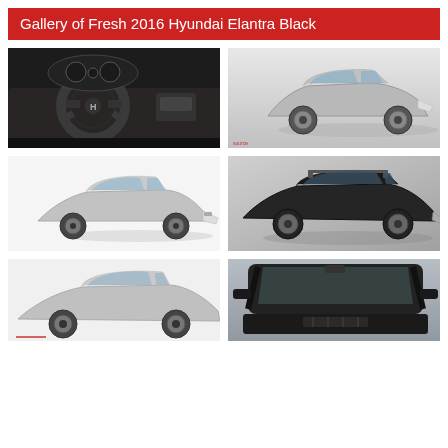Gallery of Fresh 2016 Hyundai Elantra Black
[Figure (photo): Interior view of Hyundai Elantra showing steering wheel and dashboard]
[Figure (photo): Side view of silver Hyundai Elantra sedan on grey background]
[Figure (photo): Front three-quarter view of silver Hyundai Elantra on white background]
[Figure (photo): Three-quarter view of black Hyundai Elantra GT hatchback with roof rails]
[Figure (photo): Front three-quarter view of silver Hyundai Elantra sedan, partially visible]
[Figure (photo): Front windshield and roof view of dark Hyundai Elantra, partially visible]